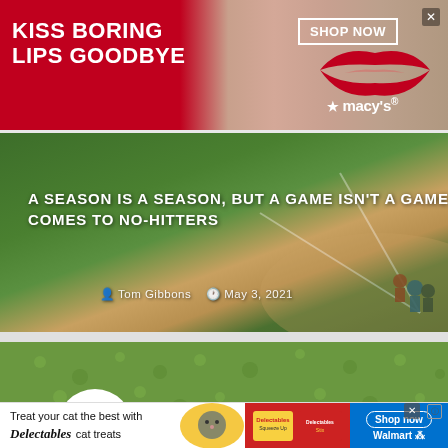[Figure (photo): Macy's advertisement banner with red lipstick model, text: KISS BORING LIPS GOODBYE, SHOP NOW button, Macy's logo with star]
[Figure (photo): Baseball article card showing baseball diamond field with players, overlay text: A SEASON IS A SEASON, BUT A GAME ISN'T A GAME WHEN IT COMES TO NO-HITTERS, author Tom Gibbons, date May 3, 2021]
[Figure (photo): Close-up photo of a Rawlings baseball on green grass]
[Figure (photo): Walmart/Delectables cat treats advertisement: Treat your cat the best with Delectables cat treats, Shop now, Walmart]